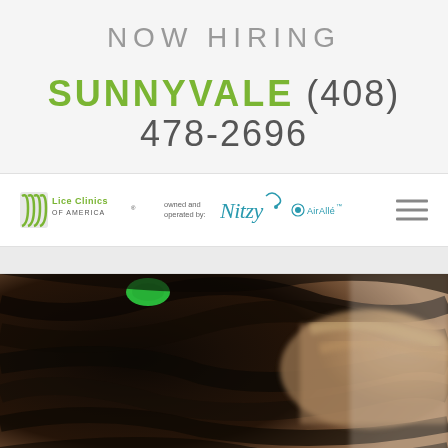NOW HIRING
SUNNYVALE (408) 478-2696
[Figure (logo): Lice Clinics of America logo, owned and operated by Nitzy and AirAllé, with hamburger menu icon]
[Figure (photo): Close-up photo of a person examining or treating dark hair, with a green clip visible, hands inspecting the hair]